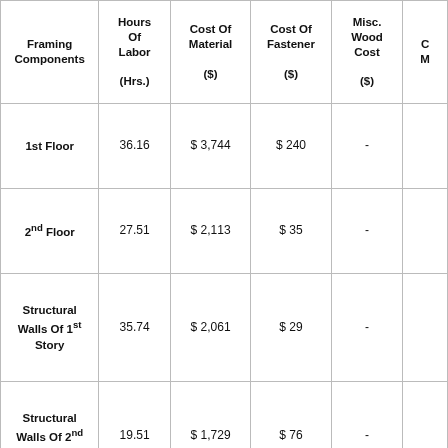| Framing Components | Hours Of Labor (Hrs.) | Cost Of Material ($) | Cost Of Fastener ($) | Misc. Wood Cost ($) | C M |
| --- | --- | --- | --- | --- | --- |
| 1st Floor | 36.16 | $ 3,744 | $ 240 | - |  |
| 2nd Floor | 27.51 | $ 2,113 | $ 35 | - |  |
| Structural Walls Of 1st Story | 35.74 | $ 2,061 | $ 29 | - |  |
| Structural Walls Of 2nd Story | 19.51 | $ 1,729 | $ 76 | - |  |
| Non Structural Walls Of 1st | 34.16 | $ 885 | $ 9 | - |  |